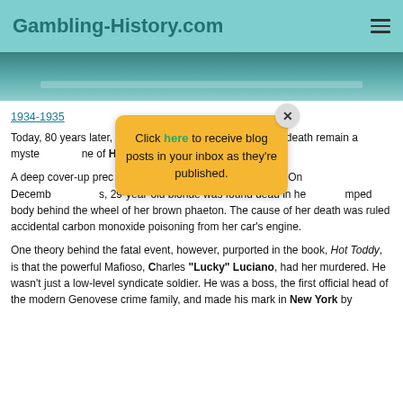Gambling-History.com
[Figure (photo): Partial image strip showing a teal/dark teal background with some horizontal lines or objects, resembling a banner image]
1934-1935
Today, 80 years later, [obscured] tress Thelma Todd's death remain a myste[ry] [o]ne of Hollywood's infamous unsolveds.
A deep cover-up prec[luded the] incident from surfacing. On Decemb[er ...], 29-year-old blonde was found dead in he[r ...] mped body behind the wheel of her brown phaeton. The cause of her death was ruled accidental carbon monoxide poisoning from her car's engine.
One theory behind the fatal event, however, purported in the book, Hot Toddy, is that the powerful Mafioso, Charles "Lucky" Luciano, had her murdered. He wasn't just a low-level syndicate soldier. He was a boss, the first official head of the modern Genovese crime family, and made his mark in New York by
[Figure (infographic): Yellow popup overlay with close button reading: Click here to receive blog posts in your inbox as they're published.]